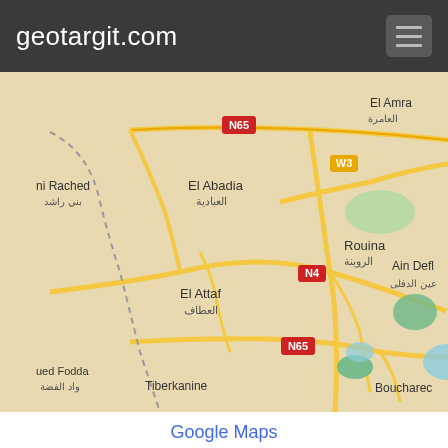geotargit.com
[Figure (map): Google Maps view showing the area around Ouakli, Algeria. Visible place names include: N65 (road badge), El Amra / العامرة, ni Rached / بني راشد, El Abadia / العبادية, W3 (road badge), Rouina / الروينة, Ain Defl / عين الدفلى, N4 (road badge), El Attaf / العطاف, ued Fodda / واد الفضة, Tiberkanine, N65 (road badge), Boucharec]
Google Maps
Webcams near Ouakli
Random webcams:
(Sorry, there are no webcams registered at webcams.travel within 250 km of Ouakli)